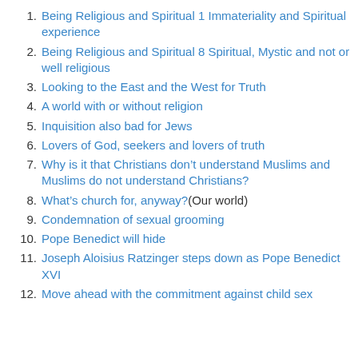Being Religious and Spiritual 1 Immateriality and Spiritual experience
Being Religious and Spiritual 8 Spiritual, Mystic and not or well religious
Looking to the East and the West for Truth
A world with or without religion
Inquisition also bad for Jews
Lovers of God, seekers and lovers of truth
Why is it that Christians don't understand Muslims and Muslims do not understand Christians?
What's church for, anyway? (Our world)
Condemnation of sexual grooming
Pope Benedict will hide
Joseph Aloisius Ratzinger steps down as Pope Benedict XVI
Move ahead with the commitment against child sex